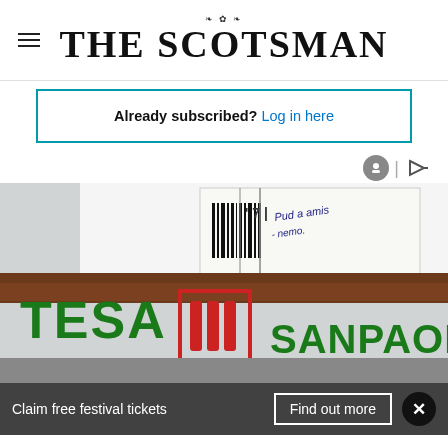THE SCOTSMAN
Already subscribed? Log in here
[Figure (photo): Photo of a bank branch sign showing 'TESA' and 'SANPAOLO' (Intesa Sanpaolo bank), with a cheque or document visible in the upper portion of the image.]
Claim free festival tickets  Find out more